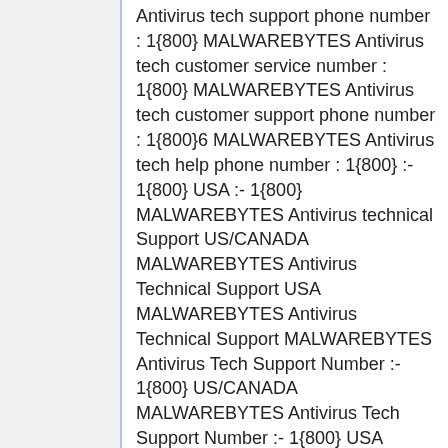Antivirus tech support phone number : 1{800} MALWAREBYTES Antivirus tech customer service number : 1{800} MALWAREBYTES Antivirus tech customer support phone number : 1{800}6 MALWAREBYTES Antivirus tech help phone number : 1{800} :- 1{800} USA :- 1{800} MALWAREBYTES Antivirus technical Support US/CANADA MALWAREBYTES Antivirus Technical Support USA MALWAREBYTES Antivirus Technical Support MALWAREBYTES Antivirus Tech Support Number :- 1{800} US/CANADA MALWAREBYTES Antivirus Tech Support Number :- 1{800} USA MALWAREBYTES Antivirus Tech Support Number :- 1{800} US/CANADA MALWAREBYTES Antivirus Technical Support MALWAREBYTES Antivirus tech Help Support USA 7